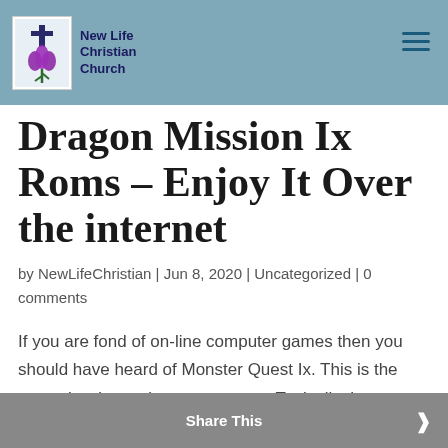New Life Christian Church
Dragon Mission Ix Roms – Enjoy It Over the internet
by NewLifeChristian | Jun 8, 2020 | Uncategorized | 0 comments
If you are fond of on-line computer games then you should have heard of Monster Quest Ix. This is the most classic gaming system ever. Typically the game has a
Share This